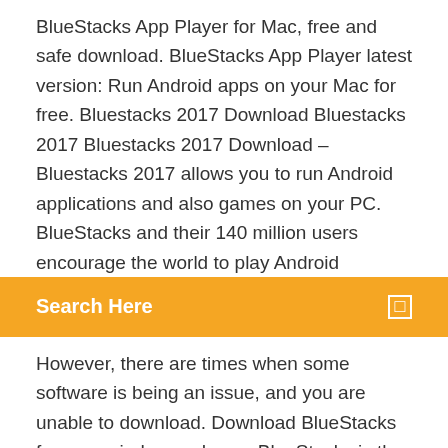BlueStacks App Player for Mac, free and safe download. BlueStacks App Player latest version: Run Android apps on your Mac for free. Bluestacks 2017 Download Bluestacks 2017 Bluestacks 2017 Download – Bluestacks 2017 allows you to run Android applications and also games on your PC. BlueStacks and their 140 million users encourage the world to play Android
Search Here
However, there are times when some software is being an issue, and you are unable to download. Download BlueStacks for your window and mac. BlueStacks is the most popular Android emulator now a days to run Android app on your computers. Download the latest version of BlueStacks 4 with just one click, without registration. It is a standalone setup package that contains the full offline installer for BlueStacks 4. BlueStacks 4.8 Crack Free Torrent For PC + Android Full Version Download BlueStacks Crack is an amazing player for android